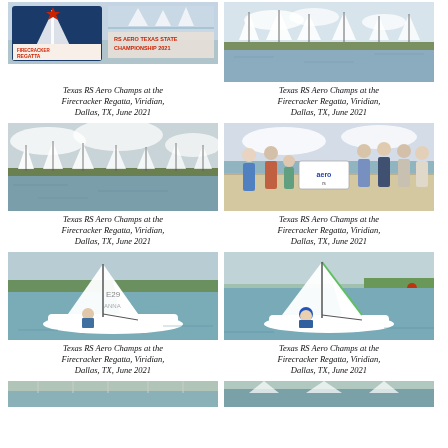[Figure (photo): Firecracker Regatta RS Aero Texas State Championship 2021 promotional image with sailboat logo]
Texas RS Aero Champs at the Firecracker Regatta, Viridian, Dallas, TX, June 2021
[Figure (photo): Sailboats on water at Viridian, Dallas TX during RS Aero Texas State Championship 2021]
Texas RS Aero Champs at the Firecracker Regatta, Viridian, Dallas, TX, June 2021
[Figure (photo): Multiple sailboats racing on open water with green shoreline in background]
Texas RS Aero Champs at the Firecracker Regatta, Viridian, Dallas, TX, June 2021
[Figure (photo): Group of sailors posing with RS Aero banner/sign on a dock]
Texas RS Aero Champs at the Firecracker Regatta, Viridian, Dallas, TX, June 2021
[Figure (photo): Single RS Aero sailboat sailing on water with green fields in background]
Texas RS Aero Champs at the Firecracker Regatta, Viridian, Dallas, TX, June 2021
[Figure (photo): Single RS Aero sailboat sailing on water]
Texas RS Aero Champs at the Firecracker Regatta, Viridian, Dallas, TX, June 2021
[Figure (photo): Partially visible photo at bottom left]
[Figure (photo): Partially visible photo at bottom right]